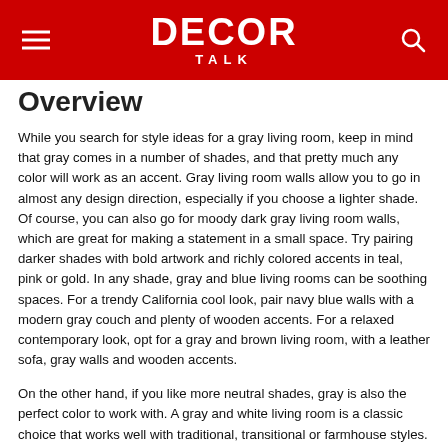DECOR TALK
OVERVIEW (partial)
While you search for style ideas for a gray living room, keep in mind that gray comes in a number of shades, and that pretty much any color will work as an accent. Gray living room walls allow you to go in almost any design direction, especially if you choose a lighter shade. Of course, you can also go for moody dark gray living room walls, which are great for making a statement in a small space. Try pairing darker shades with bold artwork and richly colored accents in teal, pink or gold. In any shade, gray and blue living rooms can be soothing spaces. For a trendy California cool look, pair navy blue walls with a modern gray couch and plenty of wooden accents. For a relaxed contemporary look, opt for a gray and brown living room, with a leather sofa, gray walls and wooden accents.
On the other hand, if you like more neutral shades, gray is also the perfect color to work with. A gray and white living room is a classic choice that works well with traditional, transitional or farmhouse styles. Try pairing light gray walls with crisp white crown molding and white